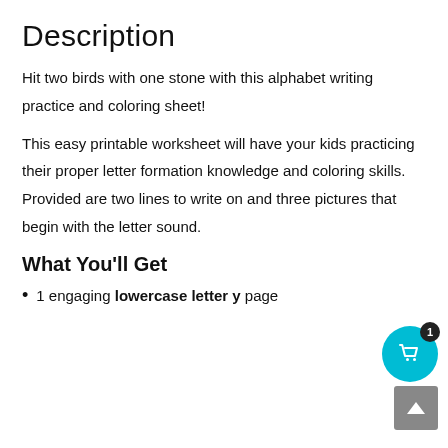Description
Hit two birds with one stone with this alphabet writing practice and coloring sheet!
This easy printable worksheet will have your kids practicing their proper letter formation knowledge and coloring skills. Provided are two lines to write on and three pictures that begin with the letter sound.
What You'll Get
1 engaging lowercase letter y page